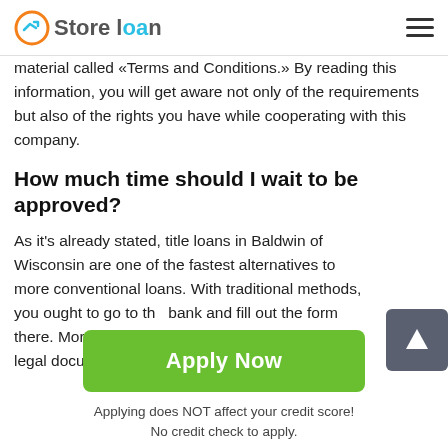Store loan
material called «Terms and Conditions.» By reading this information, you will get aware not only of the requirements but also of the rights you have while cooperating with this company.
How much time should I wait to be approved?
As it's already stated, title loans in Baldwin of Wisconsin are one of the fastest alternatives to more conventional loans. With traditional methods, you ought to go to the bank and fill out the form there. Moreover, you have to provide copies of all legal documents to prove the data in
[Figure (other): Scroll-to-top button: dark gray rounded square with white upward arrow icon]
Apply Now
Applying does NOT affect your credit score! No credit check to apply.